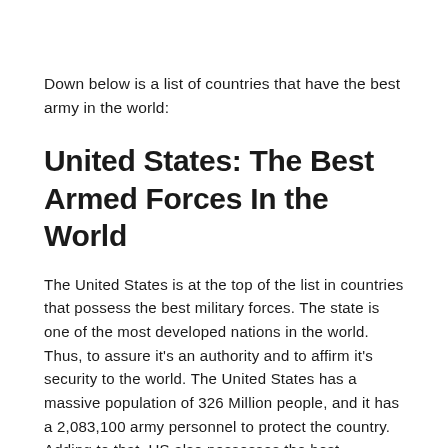Down below is a list of countries that have the best army in the world:
United States: The Best Armed Forces In the World
The United States is at the top of the list in countries that possess the best military forces. The state is one of the most developed nations in the world. Thus, to assure it's an authority and to affirm it's security to the world. The United States has a massive population of 326 Million people, and it has a 2,083,100 army personnel to protect the country. Adding to that, US also possesses the best weaponry in the world. It has the latest weapons